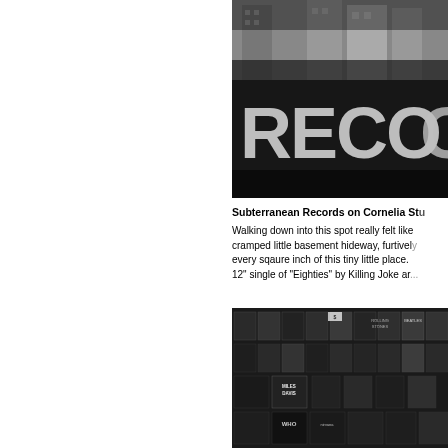[Figure (photo): Black and white photo of a record store sign reading 'RECO...' (Subterranean Records) with city buildings in background]
Subterranean Records on Cornelia St...
Walking down into this spot really felt like... cramped little basement hideway, furtively... every sqaure inch of this tiny little place. ... 12" single of "Eighties" by Killing Joke ar...
[Figure (photo): Black and white photo of record store interior showing shelves of album covers including Miles Davis, The Who, Nirvana, Rolling Stones, The Beatles and others]